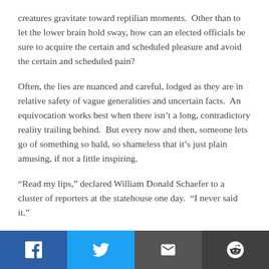creatures gravitate toward reptilian moments.  Other than to let the lower brain hold sway, how can an elected officials be sure to acquire the certain and scheduled pleasure and avoid the certain and scheduled pain?
Often, the lies are nuanced and careful, lodged as they are in relative safety of vague generalities and uncertain facts.  An equivocation works best when there isn't a long, contradictory reality trailing behind.  But every now and then, someone lets go of something so bald, so shameless that it's just plain amusing, if not a little inspiring.
“Read my lips,” declared William Donald Schaefer to a cluster of reporters at the statehouse one day.  “I never said it.”
And Maryland’s governor stared at his interlocutors firmly,
[Figure (infographic): Social sharing bar with four buttons: Facebook (blue), Twitter (light blue), Email (dark grey), Reddit (dark grey)]